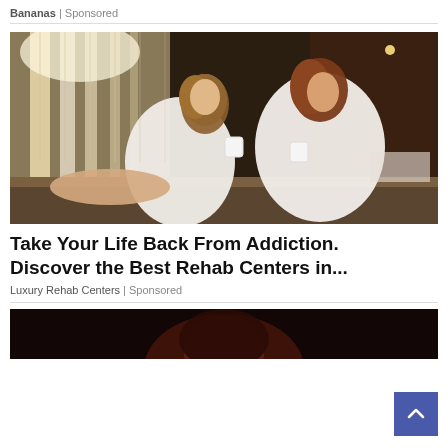Bananas | Sponsored
[Figure (photo): Two women in white bathrobes sitting on a couch by large windows, each holding a white cup, smiling and talking in a spa-like setting]
Take Your Life Back From Addiction. Discover the Best Rehab Centers in...
Luxury Rehab Centers | Sponsored
[Figure (photo): Partial view of a second advertisement image, dark background with a person visible]